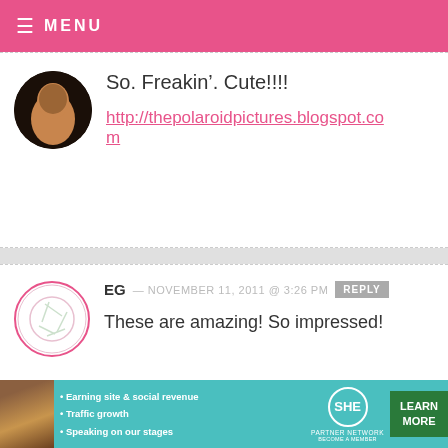MENU
So. Freakin'. Cute!!!!
http://thepolaroidpictures.blogspot.com
EG — NOVEMBER 11, 2011 @ 3:26 PM  REPLY
These are amazing! So impressed!
JACQUI — NOVEMBER 11, 2011 @ 3:26 PM  REPLY
[Figure (infographic): SHE Partner Network advertisement banner with teal background, showing a woman, bullet points about earning site & social revenue, traffic growth, speaking on our stages, SHE logo, and Learn More button]